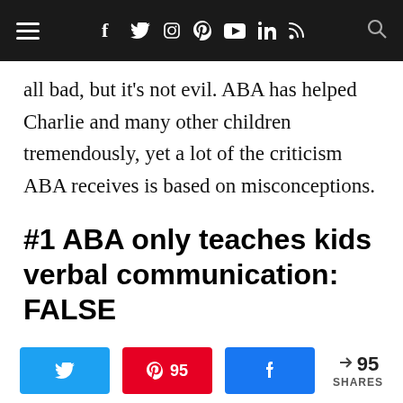Navigation bar with menu, social icons (facebook, twitter, instagram, pinterest, youtube, linkedin, rss), and search
all bad, but it's not evil. ABA has helped Charlie and many other children tremendously, yet a lot of the criticism ABA receives is based on misconceptions.
#1 ABA only teaches kids verbal communication: FALSE
Share buttons: Twitter, Pinterest (95), Facebook | 95 SHARES